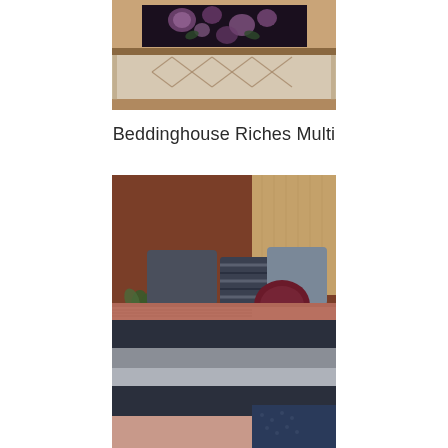[Figure (photo): Photo of two decorative rugs/runners on stairs — a dark floral rug on top step and a beige geometric patterned rug with fringe on the lower step, on wooden stairs.]
Beddinghouse Riches Multi
[Figure (photo): Photo of a bed styled with Beddinghouse Riches Multi bedding — featuring wide horizontal stripes in dark navy, grey, and dusty rose/terracotta tones. Decorative pillows including a striped cushion and a round burgundy pillow. A plant on a small metal side table is visible beside the bed. The room has a terracotta-brown wall and warm wooden paneling.]